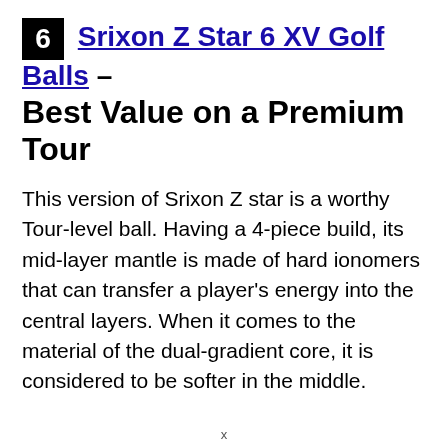6 Srixon Z Star 6 XV Golf Balls – Best Value on a Premium Tour
This version of Srixon Z star is a worthy Tour-level ball. Having a 4-piece build, its mid-layer mantle is made of hard ionomers that can transfer a player's energy into the central layers. When it comes to the material of the dual-gradient core, it is considered to be softer in the middle.